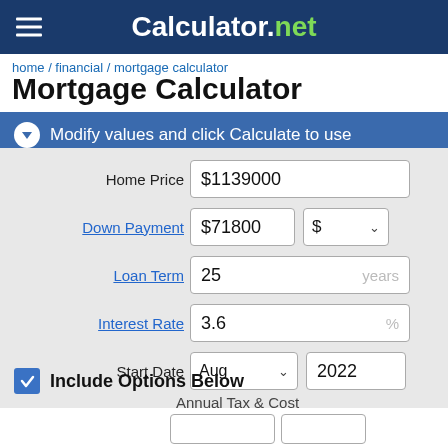Calculator.net
home / financial / mortgage calculator
Mortgage Calculator
Modify values and click Calculate to use
| Field | Value |
| --- | --- |
| Home Price | $1139000 |
| Down Payment | $71800 | $ |
| Loan Term | 25 | years |
| Interest Rate | 3.6 | % |
| Start Date | Aug | 2022 |
Include Options Below
Annual Tax & Cost